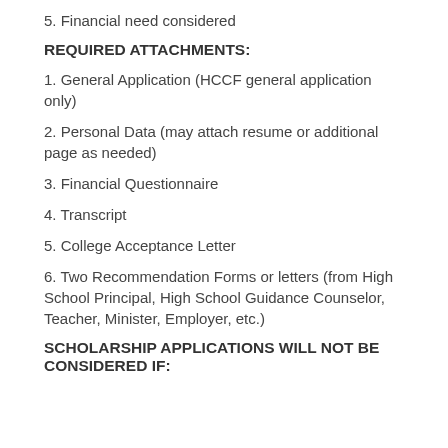5. Financial need considered
REQUIRED ATTACHMENTS:
1. General Application (HCCF general application only)
2. Personal Data (may attach resume or additional page as needed)
3. Financial Questionnaire
4. Transcript
5. College Acceptance Letter
6. Two Recommendation Forms or letters (from High School Principal, High School Guidance Counselor, Teacher, Minister, Employer, etc.)
SCHOLARSHIP APPLICATIONS WILL NOT BE CONSIDERED IF: